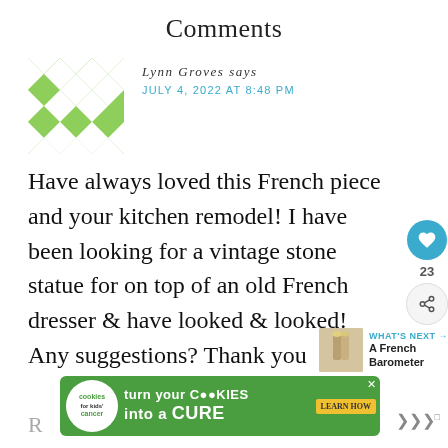Comments
[Figure (illustration): Green and white geometric quilt-pattern avatar image for user Lynn Groves]
Lynn Groves says
JULY 4, 2022 AT 8:48 PM
Have always loved this French piece and your kitchen remodel! I have been looking for a vintage stone statue for on top of an old French dresser & have looked & looked! Any suggestions? Thank you
[Figure (other): Heart icon button (teal circle with heart), count 23, and share icon button]
[Figure (other): What's Next arrow label with thumbnail image and text 'A French Barometer']
[Figure (other): Advertisement banner: cookies for kids cancer - turn your cookies into a cure - learn how]